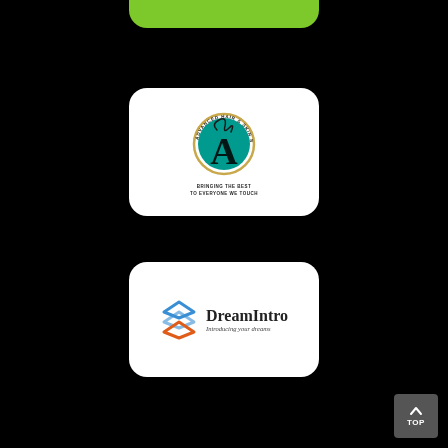[Figure (other): Green rounded bar at top center of black background]
[Figure (logo): Advanced Hair & Skin Solutions logo: circular teal emblem with golden ring, stylized A with flowing hair silhouette, arched text 'ADVANCED HAIR & SKIN SOLUTIONS', tagline 'BRINGING THE BEST TO EVERYONE WE TOUCH']
[Figure (logo): DreamIntro logo: blue and orange stacked diamond/rhombus icon on left, text 'DreamIntro' in bold serif, subtitle 'Introducing your dreams' in italic serif]
[Figure (other): Dark gray 'TOP' button with upward chevron arrow in bottom right corner]